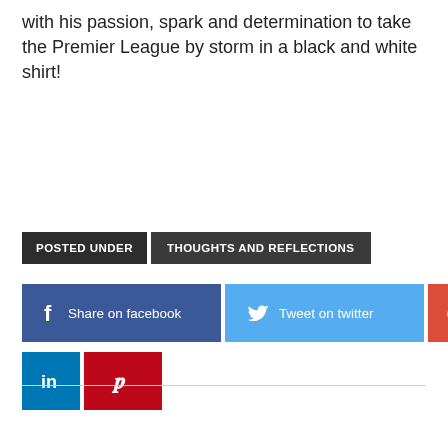with his passion, spark and determination to take the Premier League by storm in a black and white shirt!
POSTED UNDER  THOUGHTS AND REFLECTIONS
Share on facebook  Tweet on twitter  G+  (instagram)  in  (pinterest)